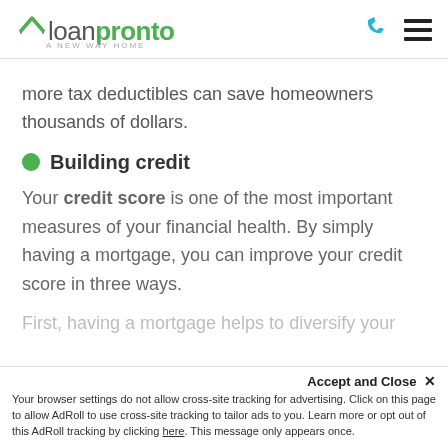loanpronto A NEW WAY HOME
more tax deductibles can save homeowners thousands of dollars.
Building credit
Your credit score is one of the most important measures of your financial health. By simply having a mortgage, you can improve your credit score in three ways.
First, having a mortgage helps to diversify your
Accept and Close ✕ Your browser settings do not allow cross-site tracking for advertising. Click on this page to allow AdRoll to use cross-site tracking to tailor ads to you. Learn more or opt out of this AdRoll tracking by clicking here. This message only appears once.